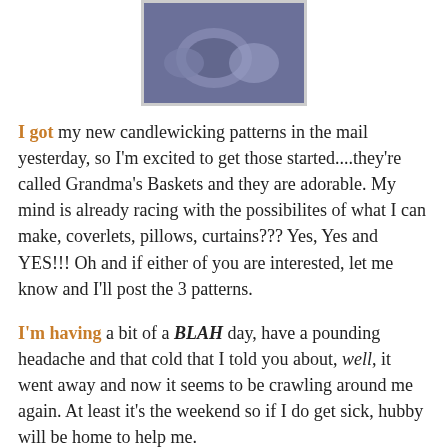[Figure (photo): Partial photo of what appears to be candlewicking basket pattern fabric, blue/purple tones, shown at top of page]
I got my new candlewicking patterns in the mail yesterday, so I'm excited to get those started....they're called Grandma's Baskets and they are adorable. My mind is already racing with the possibilites of what I can make, coverlets, pillows, curtains??? Yes, Yes and YES!!! Oh and if either of you are interested, let me know and I'll post the 3 patterns.
I'm having a bit of a BLAH day, have a pounding headache and that cold that I told you about, well, it went away and now it seems to be crawling around me again. At least it's the weekend so if I do get sick, hubby will be home to help me.
That leaves me with not much to say, trying to use my brain to come up with some clever or funny entry today, is just not really going to happen, so why push it right???
So I'm going to participate in something I have never done before....but I do see others doing it all the time (that sounds